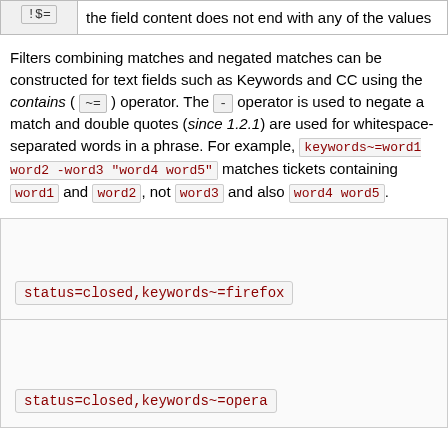|  |  |
| --- | --- |
| !$= | the field content does not end with any of the values |
Filters combining matches and negated matches can be constructed for text fields such as Keywords and CC using the contains ( ~= ) operator. The - operator is used to negate a match and double quotes (since 1.2.1) are used for whitespace-separated words in a phrase. For example, keywords~=word1 word2 -word3 "word4 word5" matches tickets containing word1 and word2, not word3 and also word4 word5.
status=closed,keywords~=firefox
status=closed,keywords~=opera